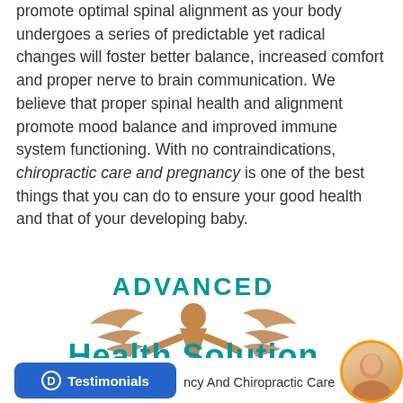promote optimal spinal alignment as your body undergoes a series of predictable yet radical changes will foster better balance, increased comfort and proper nerve to brain communication. We believe that proper spinal health and alignment promote mood balance and improved immune system functioning. With no contraindications, chiropractic care and pregnancy is one of the best things that you can do to ensure your good health and that of your developing baby.
[Figure (logo): Advanced Health Solution LLC logo with caduceus/winged medical figure, teal text reading 'ADVANCED Health Solution LLC' and subtitle 'Georgia Spine & Disc']
Testimonials | ncy And Chiropractic Care